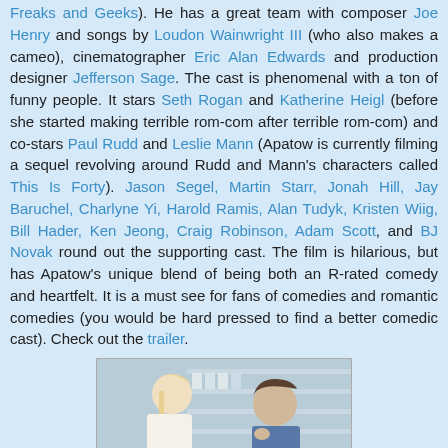Freaks and Geeks). He has a great team with composer Joe Henry and songs by Loudon Wainwright III (who also makes a cameo), cinematographer Eric Alan Edwards and production designer Jefferson Sage. The cast is phenomenal with a ton of funny people. It stars Seth Rogan and Katherine Heigl (before she started making terrible rom-com after terrible rom-com) and co-stars Paul Rudd and Leslie Mann (Apatow is currently filming a sequel revolving around Rudd and Mann's characters called This Is Forty). Jason Segel, Martin Starr, Jonah Hill, Jay Baruchel, Charlyne Yi, Harold Ramis, Alan Tudyk, Kristen Wiig, Bill Hader, Ken Jeong, Craig Robinson, Adam Scott, and BJ Novak round out the supporting cast. The film is hilarious, but has Apatow's unique blend of being both an R-rated comedy and heartfelt. It is a must see for fans of comedies and romantic comedies (you would be hard pressed to find a better comedic cast). Check out the trailer.
[Figure (photo): A photo from the film showing a blonde woman (Katherine Heigl) and a man (Seth Rogen) facing each other in what appears to be a store setting.]